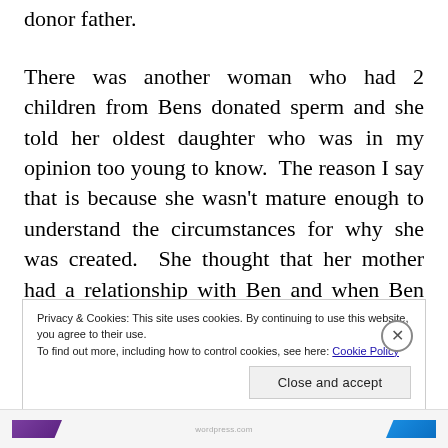donor father.
There was another woman who had 2 children from Bens donated sperm and she told her oldest daughter who was in my opinion too young to know.  The reason I say that is because she wasn't mature enough to understand the circumstances for why she was created.  She thought that her mother had a relationship with Ben and when Ben meets her mother he would fall in love with her and marry her.
Privacy & Cookies: This site uses cookies. By continuing to use this website, you agree to their use.
To find out more, including how to control cookies, see here: Cookie Policy
Close and accept